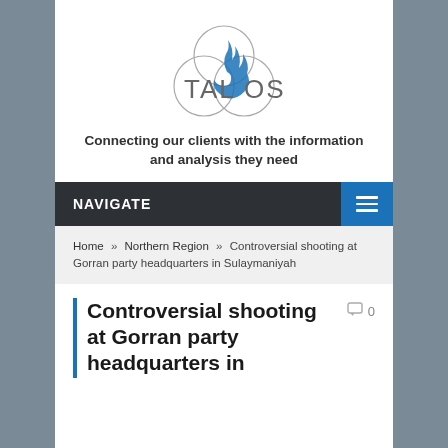[Figure (logo): TALOS logo with three overlapping circles and a blue flame, text reads TALOS]
Connecting our clients with the information and analysis they need
NAVIGATE
Home » Northern Region » Controversial shooting at Gorran party headquarters in Sulaymaniyah
Controversial shooting at Gorran party headquarters in